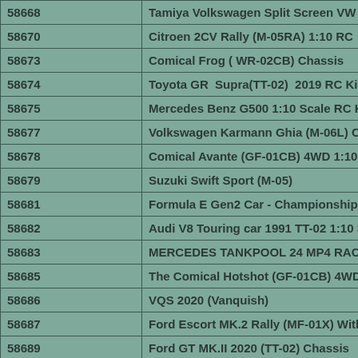| ID | Name |
| --- | --- |
| 58668 | Tamiya Volkswagen Split Screen VW wheel Drive 1:10 Scale RC kit |
| 58670 | Citroen 2CV Rally (M-05RA) 1:10 RC |
| 58673 | Comical Frog ( WR-02CB) Chassis |
| 58674 | Toyota GR  Supra(TT-02)  2019 RC Ki |
| 58675 | Mercedes Benz G500 1:10 Scale RC K |
| 58677 | Volkswagen Karmann Ghia (M-06L) C |
| 58678 | Comical Avante (GF-01CB) 4WD 1:10 S |
| 58679 | Suzuki Swift Sport (M-05) |
| 58681 | Formula E Gen2 Car - Championship |
| 58682 | Audi V8 Touring car 1991 TT-02 1:10 Sc |
| 58683 | MERCEDES TANKPOOL 24 MP4 RACI |
| 58685 | The Comical Hotshot (GF-01CB) 4WD 1 |
| 58686 | VQS 2020 (Vanquish) |
| 58687 | Ford Escort MK.2 Rally (MF-01X) With |
| 58689 | Ford GT MK.II 2020 (TT-02) Chassis |
| 58690 | Landfreeder Quadtrack (TT-02FT) |
| 58691 | Ford Escort Cosworth (TT-02) 1:10 Sca |